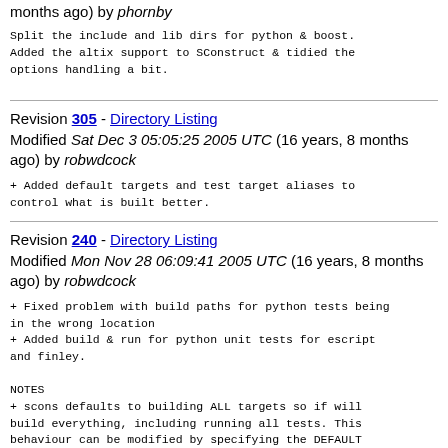months ago) by phornby
Split the include and lib dirs for python & boost.
Added the altix support to SConstruct & tidied the
options handling a bit.
Revision 305 - Directory Listing
Modified Sat Dec 3 05:05:25 2005 UTC (16 years, 8 months ago) by robwdcock
+ Added default targets and test target aliases to
control what is built better.
Revision 240 - Directory Listing
Modified Mon Nov 28 06:09:41 2005 UTC (16 years, 8 months ago) by robwdcock
+ Fixed problem with build paths for python tests being
in the wrong location
+ Added build & run for python unit tests for escript
and finley.

NOTES
+ scons defaults to building ALL targets so if will
build everything, including running all tests. This
behaviour can be modified by specifying the DEFAULT